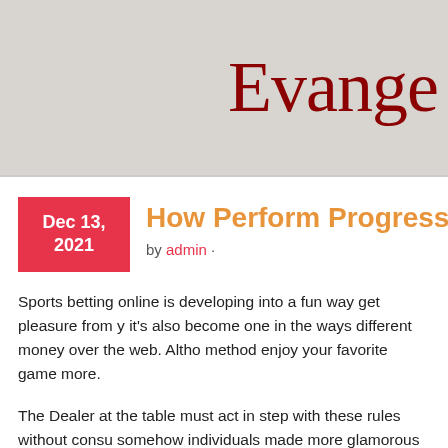Evange
How Perform Progressive Ba
Dec 13, 2021
by admin ·
Sports betting online is developing into a fun way get pleasure from y it's also become one in the ways different money over the web. Altho method enjoy your favorite game more.
The Dealer at the table must act in step with these rules without consu somehow individuals made more glamorous than any other game.
It intending to be hard and repetitious if you might be going to review sports requires skill and part of that skill is understanding on Baccara